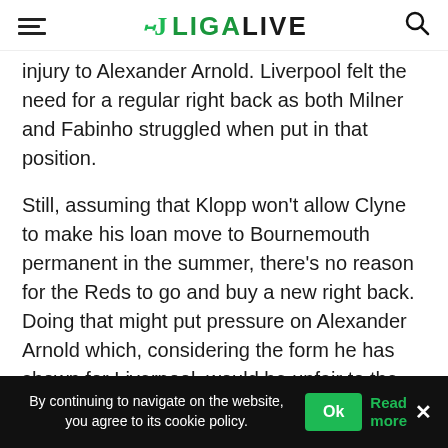LigaLive
injury to Alexander Arnold. Liverpool felt the need for a regular right back as both Milner and Fabinho struggled when put in that position.
Still, assuming that Klopp won't allow Clyne to make his loan move to Bournemouth permanent in the summer, there's no reason for the Reds to go and buy a new right back. Doing that might put pressure on Alexander Arnold which, considering the form he has shown for Liverpool, would be unfair to the talented right back.
By continuing to navigate on the website, you agree to its cookie policy. Ok Read more ×